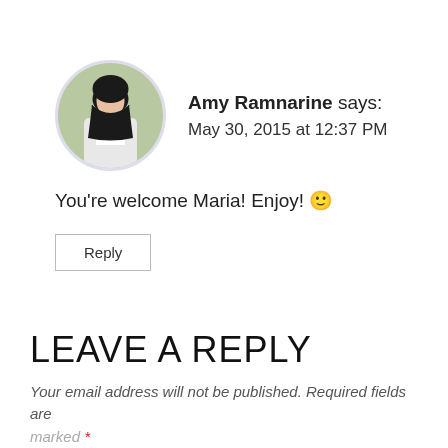[Figure (photo): Circular avatar photo of Amy Ramnarine, a woman with long dark hair against a green leafy background]
Amy Ramnarine says:
May 30, 2015 at 12:37 PM
You're welcome Maria! Enjoy! 🙂
Reply
LEAVE A REPLY
Your email address will not be published. Required fields are marked *